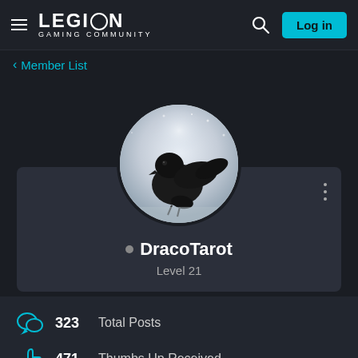LEGION GAMING COMMUNITY — Log in
< Member List
[Figure (photo): Circular avatar image showing a black raven/crow perched against a misty light background]
DracoTarot
Level 21
323  Total Posts
471  Thumbs Up Received